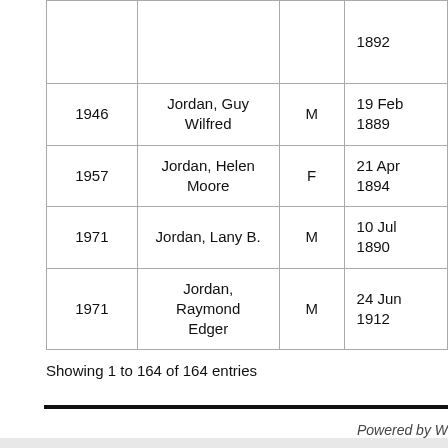|  | Name | Sex | Birth Date |  |
| --- | --- | --- | --- | --- |
|  |  |  | 1892 |  |
| 1946 | Jordan, Guy Wilfred | M | 19 Feb 1889 |  |
| 1957 | Jordan, Helen Moore | F | 21 Apr 1894 |  |
| 1971 | Jordan, Lany B. | M | 10 Jul 1890 |  |
| 1971 | Jordan, Raymond Edger | M | 24 Jun 1912 |  |
Showing 1 to 164 of 164 entries
Powered by W